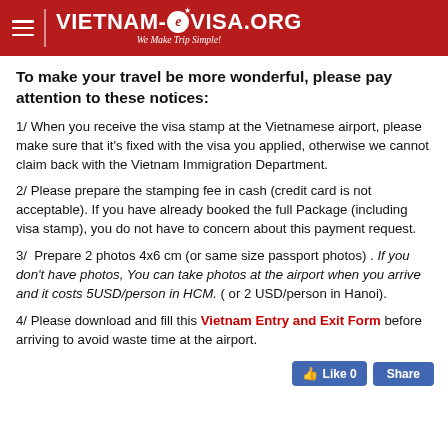VIETNAM-eVISA.ORG — We Make Trip Simple!
To make your travel be more wonderful, please pay attention to these notices:
1/ When you receive the visa stamp at the Vietnamese airport, please make sure that it's fixed with the visa you applied, otherwise we cannot claim back with the Vietnam Immigration Department.
2/ Please prepare the stamping fee in cash (credit card is not acceptable). If you have already booked the full Package (including visa stamp), you do not have to concern about this payment request.
3/ Prepare 2 photos 4x6 cm (or same size passport photos) . If you don't have photos, You can take photos at the airport when you arrive and it costs 5USD/person in HCM. ( or 2 USD/person in Hanoi).
4/ Please download and fill this Vietnam Entry and Exit Form before arriving to avoid waste time at the airport.